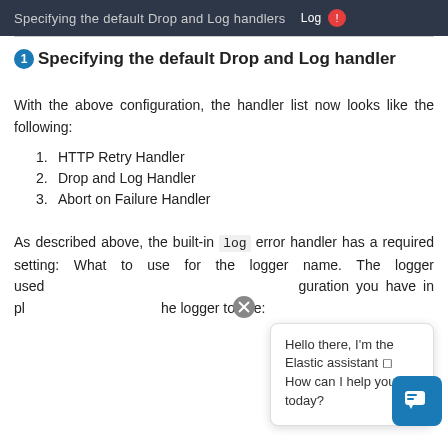Specifying the default Drop and Log handlers — Log
1 Specifying the default Drop and Log handler
With the above configuration, the handler list now looks like the following:
1. HTTP Retry Handler
2. Drop and Log Handler
3. Abort on Failure Handler
As described above, the built-in log error handler has a required setting: What to use for the logger name. The logger used via the configuration you have in place determines the logger to use: